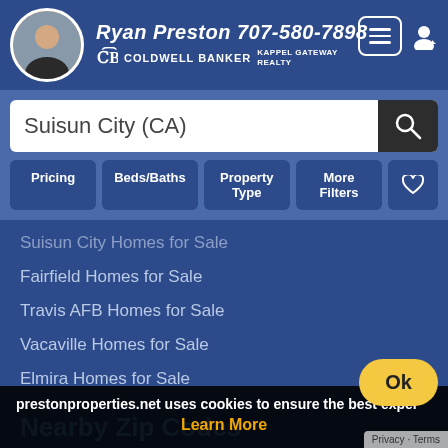Ryan Preston 707-580-7898 Coldwell Banker Kappel Gateway Realty
Suisun City (CA)
Pricing | Beds/Baths | Property Type | More Filters
Suisun City Homes for Sale
Fairfield Homes for Sale
Travis AFB Homes for Sale
Vacaville Homes for Sale
Elmira Homes for Sale
Nearby Zip Codes
94585 Homes for Sale
94533 Homes for Sale
94534 Homes for Sale
94535 Homes for Sale
prestonproperties.net uses cookies to ensure the best exper
Learn More
Ok
Privacy · Terms